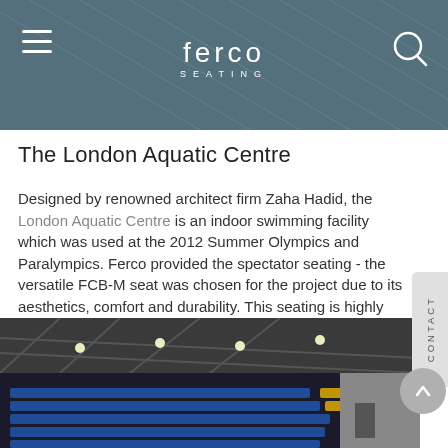[Figure (photo): Website header with Ferco Seating logo, hamburger menu icon on left, search icon on right, over a blurred/darkened architectural roof photo]
The London Aquatic Centre
Designed by renowned architect firm Zaha Hadid, the London Aquatic Centre is an indoor swimming facility which was used at the 2012 Summer Olympics and Paralympics. Ferco provided the spectator seating - the versatile FCB-M seat was chosen for the project due to its aesthetics, comfort and durability. This seating is highly flexible and is much revered for its contemporary design which can be colour customised for any type of venue.
[Figure (photo): Interior photo of London Aquatic Centre showing rows of blue and yellow stadium seating with steel roof structure and lighting above]